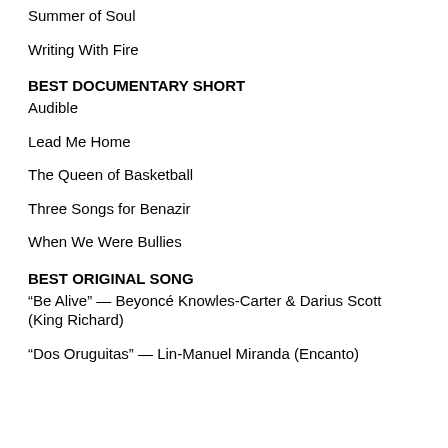Summer of Soul
Writing With Fire
BEST DOCUMENTARY SHORT
Audible
Lead Me Home
The Queen of Basketball
Three Songs for Benazir
When We Were Bullies
BEST ORIGINAL SONG
“Be Alive” — Beyoncé Knowles-Carter & Darius Scott (King Richard)
“Dos Oruguitas” — Lin-Manuel Miranda (Encanto)